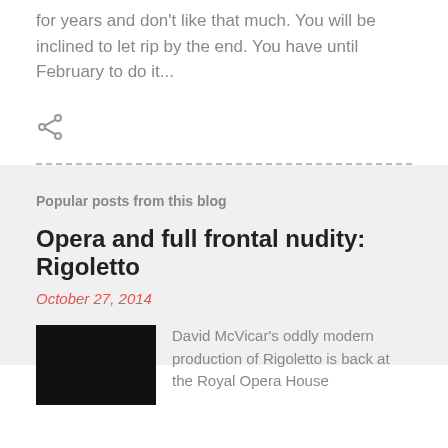for years and don't like that much. You will be inclined to let rip by the end. You have until February to do it...
[Figure (other): Share icon (network/share symbol in gray)]
Popular posts from this blog
Opera and full frontal nudity: Rigoletto
October 27, 2014
[Figure (photo): Dark thumbnail image of a person, associated with the Rigoletto blog post]
David McVicar's oddly modern production of Rigoletto is back at the Royal Opera House